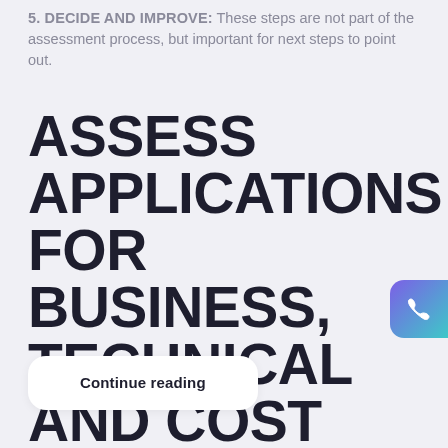5. DECIDE AND IMPROVE: These steps are not part of the assessment process, but important for next steps to point out.
ASSESS APPLICATIONS FOR BUSINESS, TECHNICAL AND COST FITNESS
Continue reading